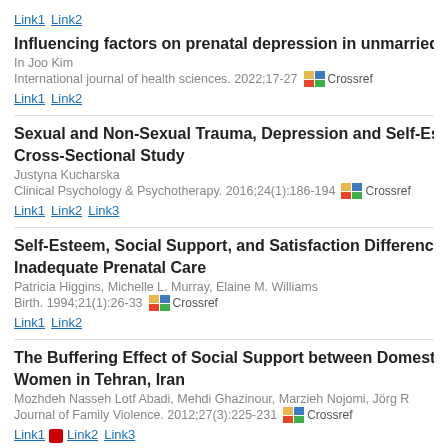Link1 Link2
Influencing factors on prenatal depression in unmarried p…
In Joo Kim
International journal of health sciences. 2022;17-27
Link1 Link2
Sexual and Non-Sexual Trauma, Depression and Self-Este… Cross-Sectional Study
Justyna Kucharska
Clinical Psychology & Psychotherapy. 2016;24(1):186-194
Link1 Link2 Link3
Self-Esteem, Social Support, and Satisfaction Differences… Inadequate Prenatal Care
Patricia Higgins, Michelle L. Murray, Elaine M. Williams
Birth. 1994;21(1):26-33
Link1 Link2
The Buffering Effect of Social Support between Domestic… Women in Tehran, Iran
Mozhdeh Nasseh Lotf Abadi, Mehdi Ghazinour, Marzieh Nojomi, Jörg R…
Journal of Family Violence. 2012;27(3):225-231
Link1 Link2 Link3